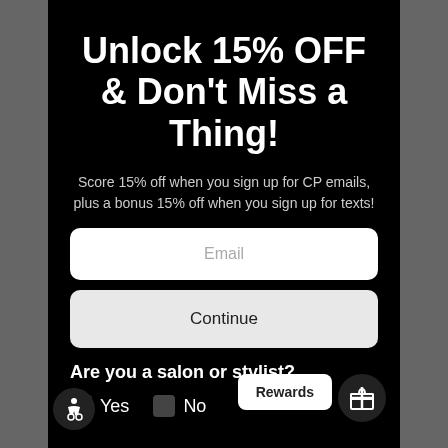Unlock 15% OFF & Don't Miss a Thing!
Score 15% off when you sign up for CP emails, plus a bonus 15% off when you sign up for texts!
Email
Continue
Are you a salon or stylist?
Yes  No
Rewards